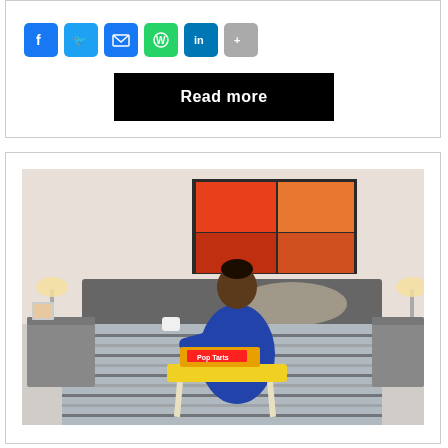[Figure (other): Social media sharing icons: Facebook, Twitter, Email, WhatsApp, LinkedIn, Share]
Read more
[Figure (photo): A person in a blue robe sitting on a bed with a zebra-print bedspread, holding a cup, with a yellow breakfast tray on a folding table. An abstract orange painting hangs on the wall behind them. Gray nightstands are on either side of the bed.]